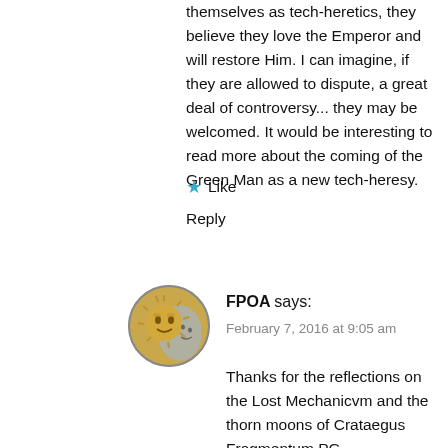themselves as tech-heretics, they believe they love the Emperor and will restore Him. I can imagine, if they are allowed to dispute, a great deal of controversy... they may be welcomed. It would be interesting to read more about the coming of the Green Man as a new tech-heresy.
★ Like
Reply
[Figure (illustration): Circular avatar image showing a sun and moon motif — a golden sun face with rays and a crescent moon, rendered in a medallion/coin style with gold and silver tones.]
FPOA says:
February 7, 2016 at 9:05 am
Thanks for the reflections on the Lost Mechanicvm and the thorn moons of Crataegus Fragmentum PG.